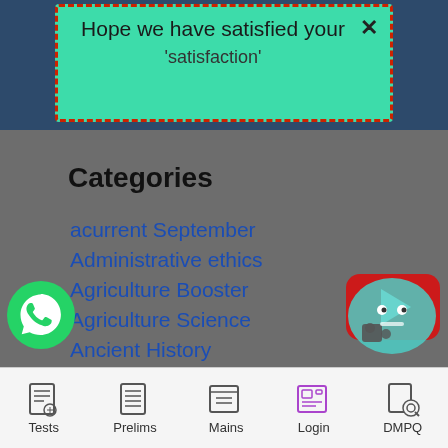[Figure (screenshot): Popup notification with teal background and red dashed border saying 'Hope we have satisfied your' with partial text below, and X close button]
Categories
acurrent September
Administrative ethics
Agriculture Booster
Agriculture Science
Ancient History
Ancient History Quiz
Andhra General Studies
April 2017
Tests  Prelims  Mains  Login  DMPQ